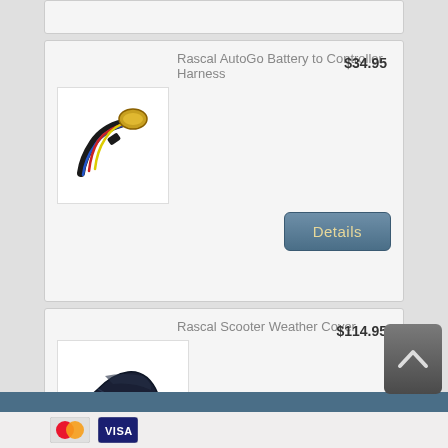[Figure (screenshot): Partial product card cut off at top of page]
Rascal AutoGo Battery to Controller Harness
$34.95
[Figure (photo): Photo of a black wiring harness/cable with colored wires]
Details
Rascal Scooter Weather Cover
$114.95
[Figure (photo): Photo of a dark navy blue scooter weather cover]
Details
Payment icons (Mastercard, Visa, etc.)